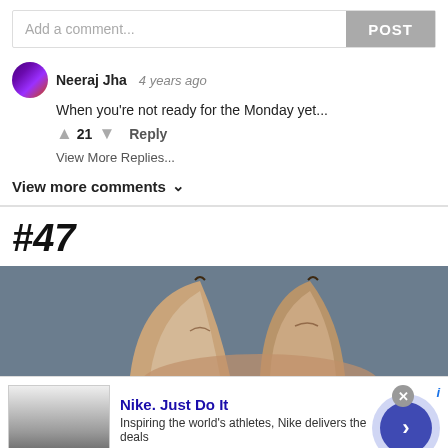Add a comment...
POST
Neeraj Jha  4 years ago
When you're not ready for the Monday yet...
21  Reply
View More Replies...
View more comments
#47
[Figure (photo): Partial view of cat ears peeking up from below against a blue-gray background]
[Figure (screenshot): Nike advertisement banner: 'Nike. Just Do It' with tagline 'Inspiring the world's athletes, Nike delivers the deals', URL www.nike.com, with thumbnail image and arrow button]